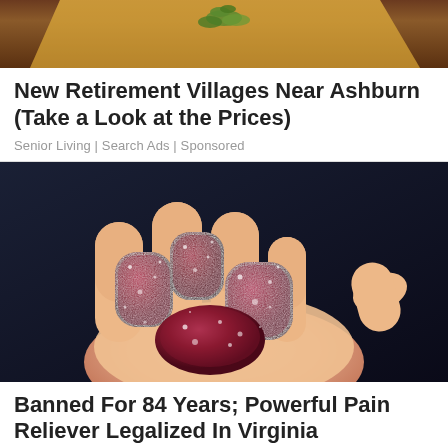[Figure (photo): Partial top image showing food item on yellowish-orange textured surface, cropped at top]
New Retirement Villages Near Ashburn (Take a Look at the Prices)
Senior Living | Search Ads | Sponsored
[Figure (photo): Close-up photo of a hand holding several dark red sugar-coated gummy candies against a dark background]
Banned For 84 Years; Powerful Pain Reliever Legalized In Virginia